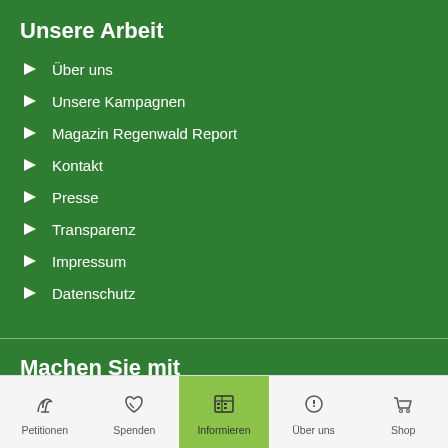Unsere Arbeit
Über uns
Unsere Kampagnen
Magazin Regenwald Report
Kontakt
Presse
Transparenz
Impressum
Datenschutz
Machen Sie mit
Petitionen unterschreiben
Erfolge lesen
Regenwald-Shop
Petitionen | Spenden | Informieren | Über uns | Shop